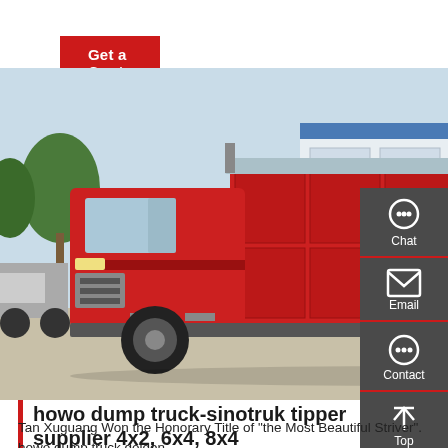Get a Quote
[Figure (photo): A large red HOWO dump truck / tipper truck parked in a yard, side profile view, with a factory building in the background and trees visible.]
howo dump truck-sinotruk tipper supplier 4x2, 6x4, 8x4
Tan Xuguang Won the Honorary Title of "the Most Beautiful Striver". howo dump truck golden